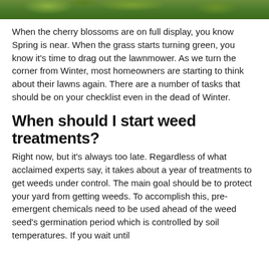[Figure (photo): Green grass or cherry blossom foliage image strip at top of page]
When the cherry blossoms are on full display, you know Spring is near. When the grass starts turning green, you know it's time to drag out the lawnmower. As we turn the corner from Winter, most homeowners are starting to think about their lawns again. There are a number of tasks that should be on your checklist even in the dead of Winter.
When should I start weed treatments?
Right now, but it's always too late. Regardless of what acclaimed experts say, it takes about a year of treatments to get weeds under control. The main goal should be to protect your yard from getting weeds. To accomplish this, pre-emergent chemicals need to be used ahead of the weed seed's germination period which is controlled by soil temperatures. If you wait until